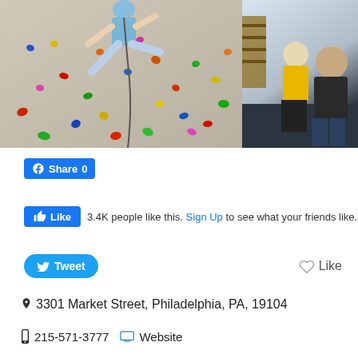[Figure (photo): Indoor rock climbing wall with colorful holds; a climber scaling the wall on the left side, and two people (one in yellow shirt, one in dark shirt) observing on the right side of the image.]
Share 0
Like   3.4K people like this. Sign Up to see what your friends like.
Tweet   Like
3301 Market Street, Philadelphia, PA, 19104
215-571-3777   Website